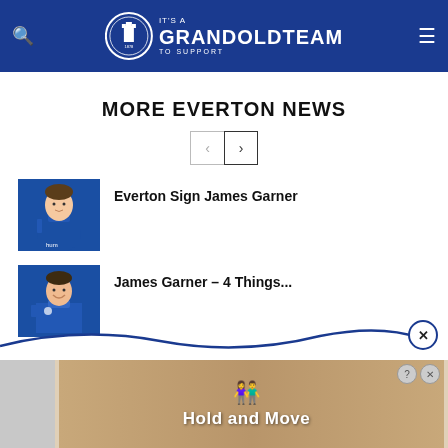It's a Grand Old Team to Support — grandoldteam.com
MORE EVERTON NEWS
< >
[Figure (photo): Photo of Everton player James Garner in blue kit]
Everton Sign James Garner
[Figure (photo): Photo of James Garner smiling in blue Everton kit]
James Garner – 4 Things...
[Figure (infographic): Advertisement banner showing Hold and Move app/game with figures and wood texture background]